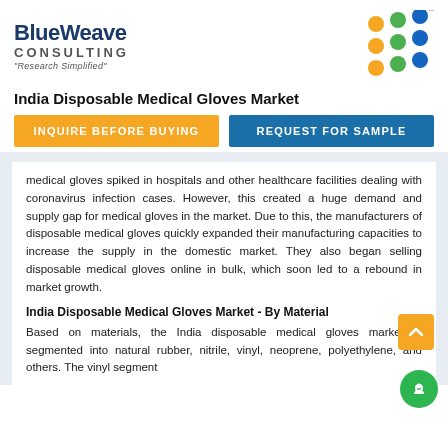[Figure (logo): BlueWeave Consulting logo with dot grid and tagline 'Research Simplified']
India Disposable Medical Gloves Market
INQUIRE BEFORE BUYING
REQUEST FOR SAMPLE
medical gloves spiked in hospitals and other healthcare facilities dealing with coronavirus infection cases. However, this created a huge demand and supply gap for medical gloves in the market. Due to this, the manufacturers of disposable medical gloves quickly expanded their manufacturing capacities to increase the supply in the domestic market. They also began selling disposable medical gloves online in bulk, which soon led to a rebound in market growth.
India Disposable Medical Gloves Market - By Material
Based on materials, the India disposable medical gloves market is segmented into natural rubber, nitrile, vinyl, neoprene, polyethylene, and others. The vinyl segment